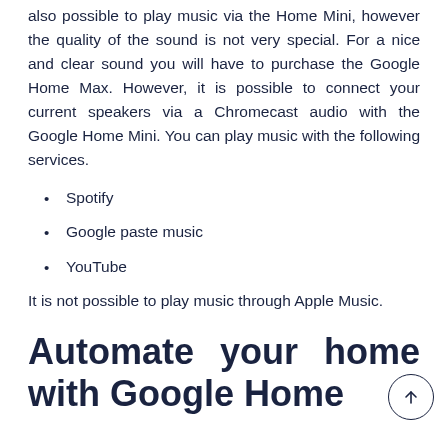also possible to play music via the Home Mini, however the quality of the sound is not very special. For a nice and clear sound you will have to purchase the Google Home Max. However, it is possible to connect your current speakers via a Chromecast audio with the Google Home Mini. You can play music with the following services.
Spotify
Google paste music
YouTube
It is not possible to play music through Apple Music.
Automate your home with Google Home